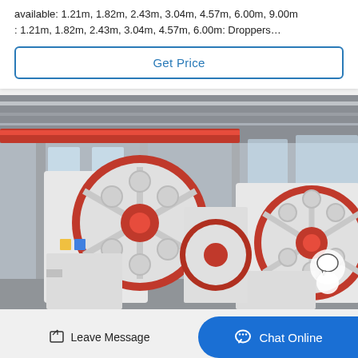available: 1.21m, 1.82m, 2.43m, 3.04m, 4.57m, 6.00m, 9.00m : 1.21m, 1.82m, 2.43m, 3.04m, 4.57m, 6.00m: Droppers…
Get Price
[Figure (photo): Industrial jaw crusher machines with large red and white flywheels inside a factory/warehouse setting. Two prominent jaw crushers visible side by side.]
Leave Message
Chat Online